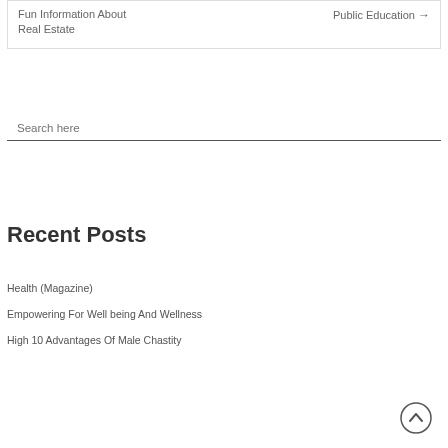Fun Information About Real Estate
Public Education →
Search here
Recent Posts
Health (Magazine)
Empowering For Well being And Wellness
High 10 Advantages Of Male Chastity